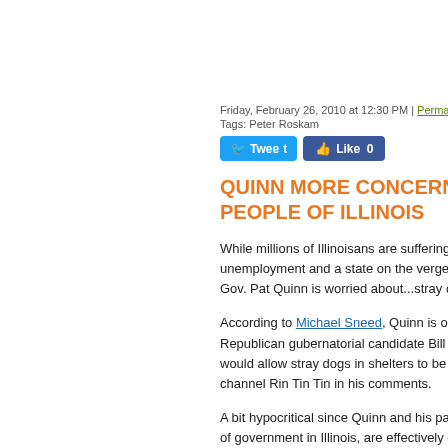Friday, February 26, 2010 at 12:30 PM | Permalink |
Tags: Peter Roskam
[Figure (other): Tweet and Like social media buttons]
QUINN MORE CONCERNED AB... PEOPLE OF ILLINOIS
While millions of Illinoisans are suffering... unemployment and a state on the verge... Gov. Pat Quinn is worried about...stray d...
According to Michael Sneed, Quinn is o... Republican gubernatorial candidate Bill B... would allow stray dogs in shelters to be e... channel Rin Tin Tin in his comments.
A bit hypocritical since Quinn and his pa... of government in Illinois, are effectively e... transportation, and all our futures with th...
Friday, February 26, 2010 at 11:10 AM | Permalink